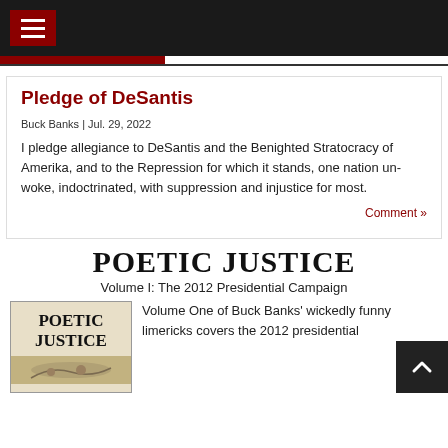Navigation bar with menu button
Pledge of DeSantis
Buck Banks | Jul. 29, 2022
I pledge allegiance to DeSantis and the Benighted Stratocracy of Amerika, and to the Repression for which it stands, one nation un-woke, indoctrinated, with suppression and injustice for most.
Comment »
POETIC JUSTICE
Volume I: The 2012 Presidential Campaign
[Figure (illustration): Book cover for Poetic Justice showing title text on a tan/cream background with a decorative image at the bottom]
Volume One of Buck Banks' wickedly funny limericks covers the 2012 presidential